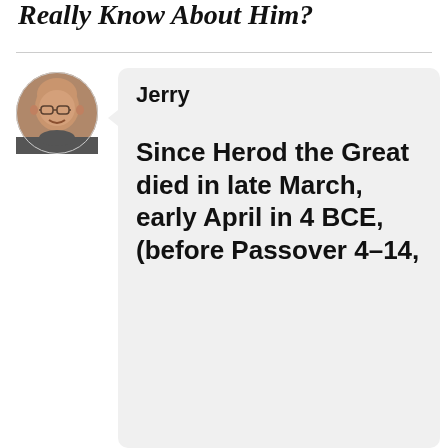Really Know About Him?
[Figure (photo): Circular avatar photo of a middle-aged man with glasses and a bald head, smiling, wearing a dark shirt.]
Jerry
Since Herod the Great died in late March, early April in 4 BCE, (before Passover 4–14,